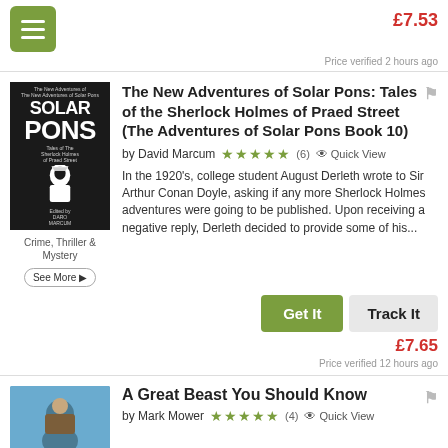£7.53
Price verified 2 hours ago
The New Adventures of Solar Pons: Tales of the Sherlock Holmes of Praed Street (The Adventures of Solar Pons Book 10)
by David Marcum  ★★★★★ (6)  Quick View
In the 1920's, college student August Derleth wrote to Sir Arthur Conan Doyle, asking if any more Sherlock Holmes adventures were going to be published. Upon receiving a negative reply, Derleth decided to provide some of his...
Crime, Thriller & Mystery
See More ▶
Get It
Track It
£7.65
Price verified 12 hours ago
A Great Beast You Should Know
by Mark Mower  ★★★★★ (4)  Quick View